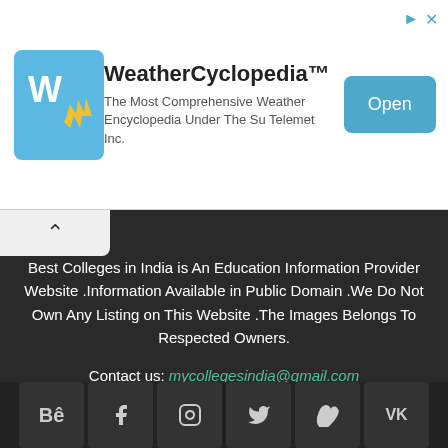[Figure (screenshot): WeatherCyclopedia app advertisement banner with logo icon, app name, description, and Open button]
Best Colleges in India is An Education Information Provider Website .Information Available in Public Domain .We Do Not Own Any Listing on This Website .The Images Belongs To Respected Owners.
Contact us: mycollegesindia@gmail.com
[Figure (other): Social media icons row: Behance, Facebook, Instagram, Twitter, Vimeo, VK]